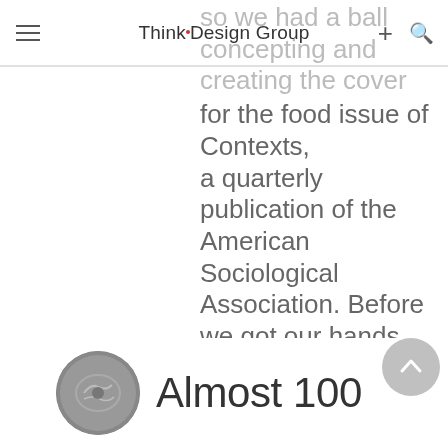ThinkDesign Group
so we had a ball concepting and creating the cover for the food issue of Contexts, a quarterly publication of the American Sociological Association. Before we got our hands messy, we considered how to best connect [...]
[Figure (photo): Circular coin or medallion image in grayscale]
Almost 100